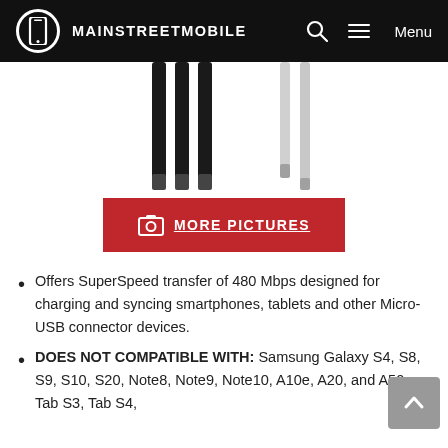MAINSTREETMOBILE
[Figure (photo): Product image showing USB cables (black and white/silver variants) against white background]
[Figure (other): Red button with camera icon and text MORE PICTURES]
Offers SuperSpeed transfer of 480 Mbps designed for charging and syncing smartphones, tablets and other Micro-USB connector devices.
DOES NOT COMPATIBLE WITH: Samsung Galaxy S4, S8, S9, S10, S20, Note8, Note9, Note10, A10e, A20, and A50, Tab S3, Tab S4,